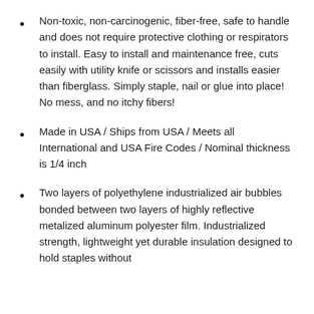Non-toxic, non-carcinogenic, fiber-free, safe to handle and does not require protective clothing or respirators to install. Easy to install and maintenance free, cuts easily with utility knife or scissors and installs easier than fiberglass. Simply staple, nail or glue into place! No mess, and no itchy fibers!
Made in USA / Ships from USA / Meets all International and USA Fire Codes / Nominal thickness is 1/4 inch
Two layers of polyethylene industrialized air bubbles bonded between two layers of highly reflective metalized aluminum polyester film. Industrialized strength, lightweight yet durable insulation designed to hold staples without